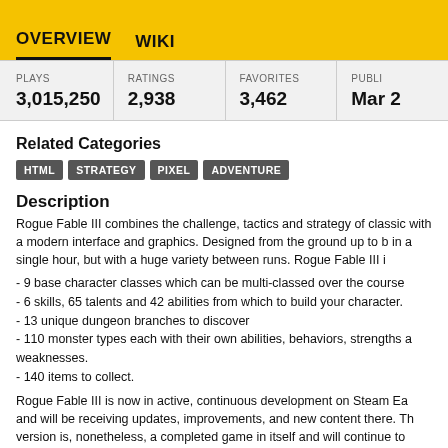OVERVIEW   WIKI
| PLAYS | RATINGS | FAVORITES | PUBLI... |
| --- | --- | --- | --- |
| 3,015,250 | 2,938 | 3,462 | Mar ... |
Related Categories
HTML
STRATEGY
PIXEL
ADVENTURE
Description
Rogue Fable III combines the challenge, tactics and strategy of classic with a modern interface and graphics. Designed from the ground up to be played in a single hour, but with a huge variety between runs. Rogue Fable III i
- 9 base character classes which can be multi-classed over the course
- 6 skills, 65 talents and 42 abilities from which to build your character.
- 13 unique dungeon branches to discover
- 110 monster types each with their own abilities, behaviors, strengths a weaknesses.
- 140 items to collect.
Rogue Fable III is now in active, continuous development on Steam Ea and will be receiving updates, improvements, and new content there. Th version is, nonetheless, a completed game in itself and will continue to